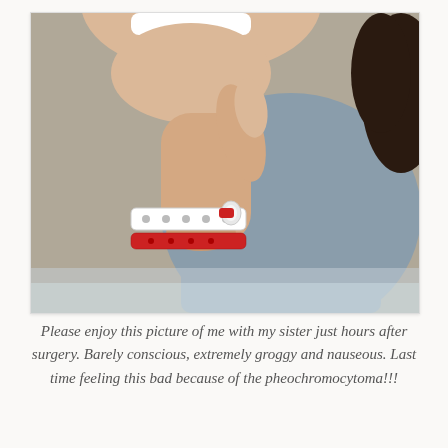[Figure (photo): Close-up photo of a person giving a thumbs-up gesture with hospital wristbands — a white polka-dot band and a red band — on their wrist. Another person (sister) is partially visible in the background, wearing a gray shirt.]
Please enjoy this picture of me with my sister just hours after surgery. Barely conscious, extremely groggy and nauseous. Last time feeling this bad because of the pheochromocytoma!!!